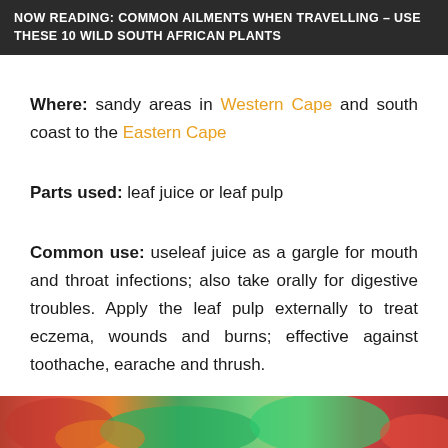NOW READING: COMMON AILMENTS WHEN TRAVELLING – USE THESE 10 WILD SOUTH AFRICAN PLANTS
Where: sandy areas in Western Cape and south coast to the Eastern Cape
Parts used: leaf juice or leaf pulp
Common use: useleaf juice as a gargle for mouth and throat infections; also take orally for digestive troubles. Apply the leaf pulp externally to treat eczema, wounds and burns; effective against toothache, earache and thrush.
[Figure (photo): Partial view of colorful plant or flower at the bottom of the page, showing red, orange, and green colors.]